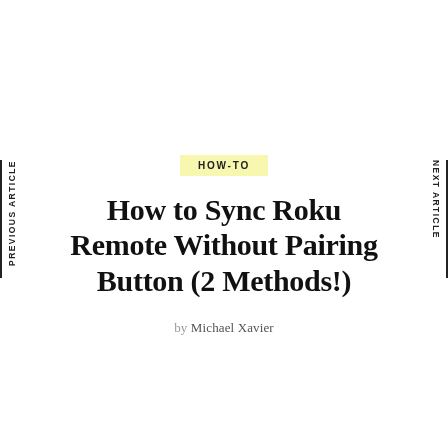PREVIOUS ARTICLE
NEXT ARTICLE
HOW-TO
How to Sync Roku Remote Without Pairing Button (2 Methods!)
by Michael Xavier